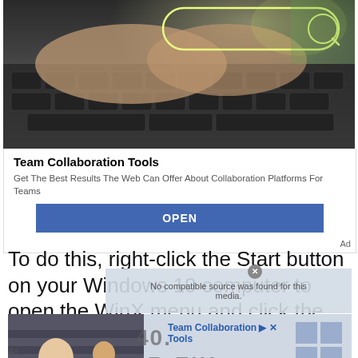[Figure (photo): Advertisement banner showing hands typing on a laptop keyboard with a glowing search box overlay in yellow-green]
Team Collaboration Tools
Get The Best Results The Web Can Offer About Collaboration Platforms For Teams
OPEN
Ad
To do this, right-click the Start button on your Windows 10 computer to open the WinX menu and click the Command Prompt
[Figure (screenshot): Overlay showing 'No compatible source was found for this media.' message and Team Collaboration Tools ad with person on video call]
Ad